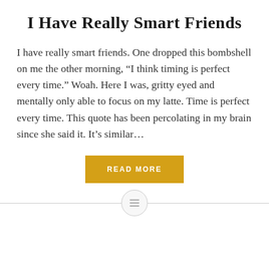I Have Really Smart Friends
I have really smart friends. One dropped this bombshell on me the other morning, “I think timing is perfect every time.” Woah. Here I was, gritty eyed and mentally only able to focus on my latte. Time is perfect every time. This quote has been percolating in my brain since she said it. It’s similar…
[Figure (other): READ MORE button — golden/amber colored rectangular button with white uppercase text]
[Figure (other): Horizontal divider line with a circular icon in the center containing three horizontal lines (hamburger/menu icon)]